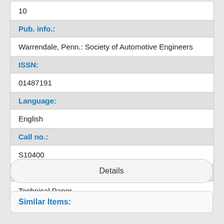10
Pub. info.:
Warrendale, Penn.: Society of Automotive Engineers
ISSN:
01487191
Language:
English
Call no.:
S10400
Type:
Technical Paper
Details
Similar Items: